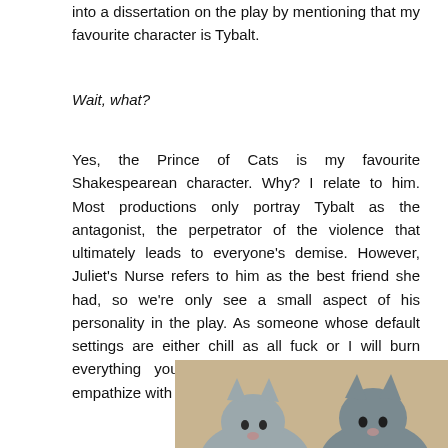into a dissertation on the play by mentioning that my favourite character is Tybalt.
Wait, what?
Yes, the Prince of Cats is my favourite Shakespearean character. Why? I relate to him. Most productions only portray Tybalt as the antagonist, the perpetrator of the violence that ultimately leads to everyone's demise. However, Juliet's Nurse refers to him as the best friend she had, so we're only see a small aspect of his personality in the play. As someone whose default settings are either chill as all fuck or I will burn everything you love to the ground I sort of empathize with him. Maybe it's just me. Fine.
[Figure (photo): Two grey cats peeking over the edge of a surface, looking at the camera, against a beige/tan background.]